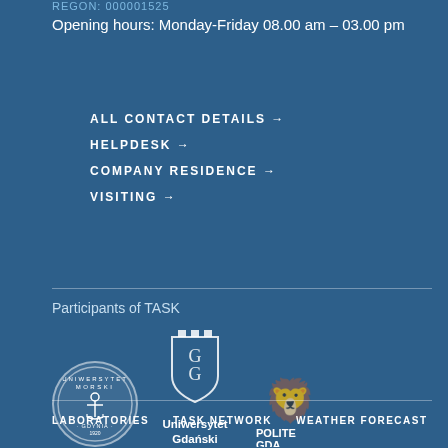REGON: 000001525
Opening hours: Monday-Friday 08.00 am – 03.00 pm
ALL CONTACT DETAILS →
HELPDESK →
COMPANY RESIDENCE →
VISITING →
Participants of TASK
[Figure (logo): Uniwersytet Morski Gdynia circular seal logo]
[Figure (logo): Uniwersytet Gdański shield logo]
[Figure (logo): Politechnika Gdańska partial logo]
LABORATORIES   TASK NETWORK   WEATHER FORECAST